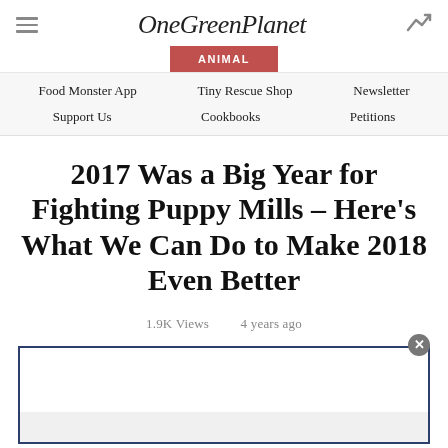OneGreenPlanet
ANIMAL
Food Monster App | Tiny Rescue Shop | Newsletter | Support Us | Cookbooks | Petitions
2017 Was a Big Year for Fighting Puppy Mills – Here's What We Can Do to Make 2018 Even Better
1.9K Views  4 years ago
[Figure (other): Advertisement box with close button and gray bottom stripe]